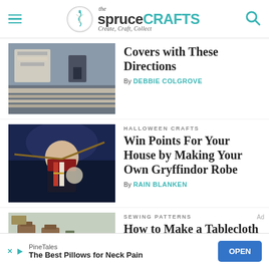the spruce CRAFTS — Create, Craft, Collect
[Figure (photo): Bedroom with striped bedding and pillows]
Covers with These Directions
By DEBBIE COLGROVE
HALLOWEEN CRAFTS
[Figure (photo): Person dressed as Harry Potter in Gryffindor robe holding a wand]
Win Points For Your House by Making Your Own Gryffindor Robe
By RAIN BLANKEN
SEWING PATTERNS
[Figure (photo): Room with wooden chairs and a table with white tablecloth]
How to Make a Tablecloth
Ad
PineTales — The Best Pillows for Neck Pain — OPEN